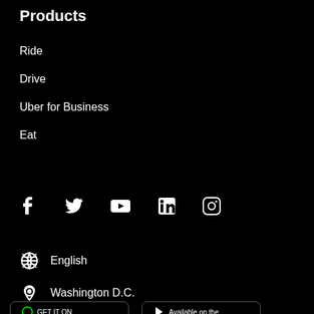Products
Ride
Drive
Uber for Business
Eat
[Figure (illustration): Social media icons: Facebook, Twitter, YouTube, LinkedIn, Instagram]
English
Washington D.C.
[Figure (screenshot): App store download buttons (partial, cropped at bottom)]